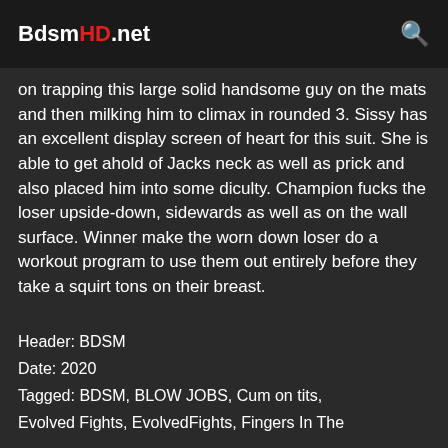BdsmHD.net
on trapping this large solid handsome guy on the mats and then milking him to climax in rounded 3. Sissy has an excellent display screen of heart for this suit. She is able to get ahold of Jacks neck as well as prick and also placed him into some difficulty. Champion fucks the loser upside-down, sidewards as well as on the wall surface. Winner make the worn down loser do a workout program to use them out entirely before they take a squirt tons on their breast.
Header: BDSM
Date: 2020
Tagged: BDSM, BLOW JOBS, Cum on tits, Evolved Fights, EvolvedFights, Fingers In The